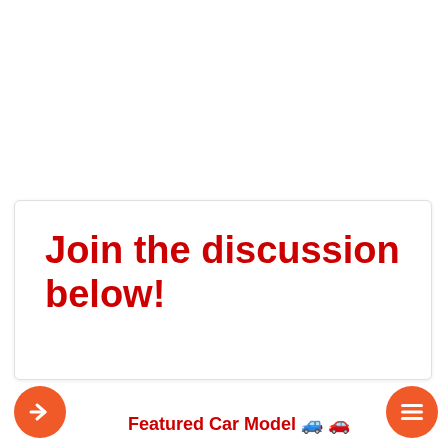Join the discussion below!
Featured Car Model 🚙 🚗